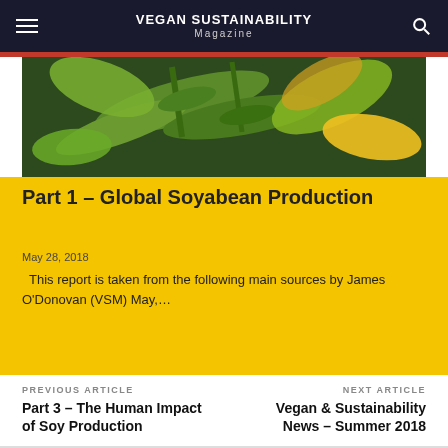VEGAN SUSTAINABILITY Magazine
[Figure (photo): Close-up photograph of soyabean plant with green pods and leaves]
Part 1 – Global Soyabean Production
May 28, 2018
This report is taken from the following main sources by James O'Donovan (VSM) May,…
PREVIOUS ARTICLE
Part 3 – The Human Impact of Soy Production
NEXT ARTICLE
Vegan & Sustainability News – Summer 2018